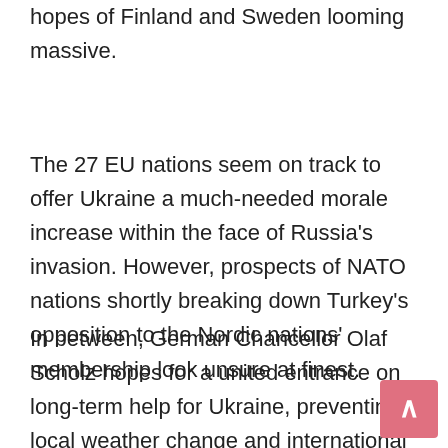hopes of Finland and Sweden looming massive.
The 27 EU nations seem on track to offer Ukraine a much-needed morale increase within the face of Russia's invasion. However, prospects of NATO nations shortly breaking down Turkey's opposition to the Nordic nations' membership look unsure at finest.
In between, German Chancellor Olaf Scholz hopes for a united entrance on long-term help for Ukraine, preventing local weather change and international starvation at a time of raging inflation and rising gas insecurity when he welcomes the leaders of the G-7 — the U.S., Germany, France, Italy, the U.Okay., Canada and Japan, plus the EU — to the Bavarian Alps